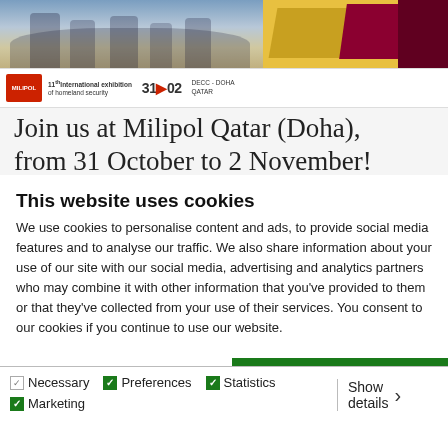[Figure (screenshot): Banner image showing exhibition crowd photo on left and gold/maroon decorative boxes on right, with Milipol Qatar logo bar below showing '11th International exhibition of homeland security', '31>02', 'DECC - DOHA QATAR']
Join us at Milipol Qatar (Doha), from 31 October to 2 November!
This website uses cookies
We use cookies to personalise content and ads, to provide social media features and to analyse our traffic. We also share information about your use of our site with our social media, advertising and analytics partners who may combine it with other information that you've provided to them or that they've collected from your use of their services. You consent to our cookies if you continue to use our website.
Allow all cookies
Allow selection
Use necessary cookies only
Necessary  Preferences  Statistics  Marketing  Show details